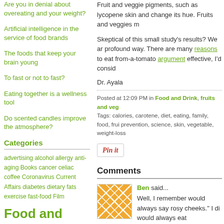Are you in denial about overeating and your weight?
Artificial intelligence in the service of food brands
The foods that keep your brain young
To fast or not to fast?
Eating together is a wellness tool
Do scented candles improve the atmosphere?
Categories
advertising alcohol allergy anti-aging Books cancer celiac coffee Coronavirus Current Affairs diabetes dietary fats exercise fast-food Film Food and Drink
Fruit and veggie pigments, such as lycopene skin and change its hue. Fruits and veggies m
Skeptical of this small study's results? We ar profound way. There are many reasons to eat from-a-tomato argument effective, I'd consid
Dr. Ayala
Posted at 12:09 PM in Food and Drink, fruits and veg Tags: calories, carotene, diet, eating, family, food, frui prevention, science, skin, vegetable, weight-loss
[Figure (other): Pin it button]
Comments
[Figure (photo): User avatar for Ben - orange geometric pattern image]
Ben said...
Well, I remember would always say rosy cheeks." I di would always eat
Reply